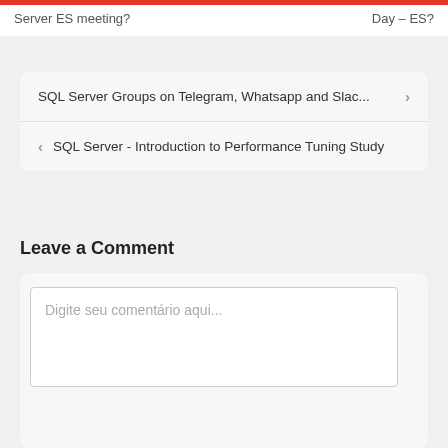Server ES meeting?    Day - ES?
SQL Server Groups on Telegram, Whatsapp and Slac...
SQL Server - Introduction to Performance Tuning Study
Leave a Comment
[Figure (screenshot): Comment text area with placeholder text 'Digite seu comentário aqui...']